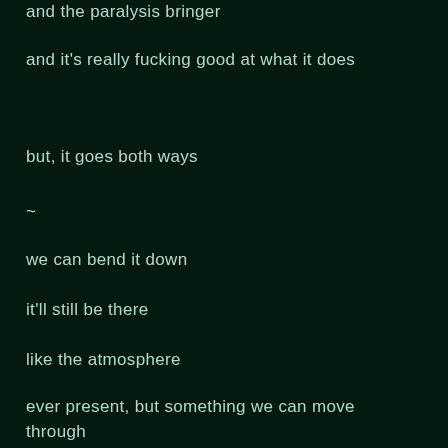and the paralysis bringer
and it's really fucking good at what it does
but, it goes both ways
~
we can bend it down
it'll still be there
like the atmosphere
ever present, but something we can move through
~